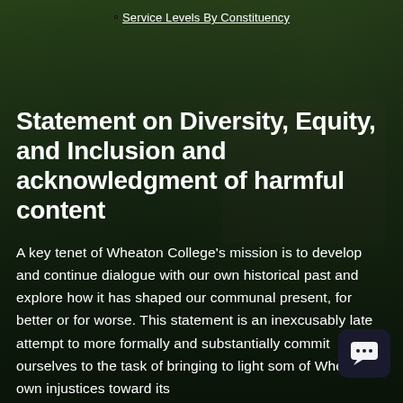Service Levels By Constituency
Statement on Diversity, Equity, and Inclusion and acknowledgment of harmful content
A key tenet of Wheaton College’s mission is to develop and continue dialogue with our own historical past and explore how it has shaped our communal present, for better or for worse. This statement is an inexcusably late attempt to more formally and substantially commit ourselves to the task of bringing to light some of Wheaton’s own injustices toward its own community members for the past and beyond.